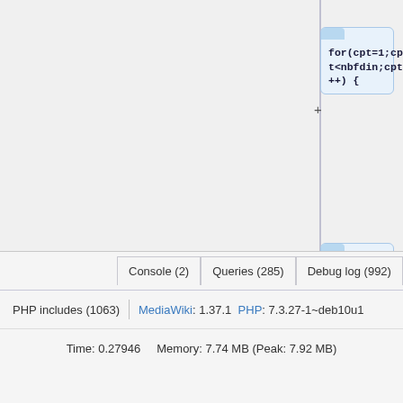[Figure (screenshot): Code diff view showing C code blocks with plus signs indicating additions. Block 1: for(cpt=1;cpt<nbfdin;cpt++) { Block 2: if(FD_ISSET(streams[cpt].fd, &rset)) { Block 3: current=cpt; Block 4: ptr=&streams[current]:]
Console (2)   Queries (285)   Debug log (992)   Request
PHP includes (1063)   MediaWiki: 1.37.1   PHP: 7.3.27-1~deb10u1
Time: 0.27946   Memory: 7.74 MB (Peak: 7.92 MB)